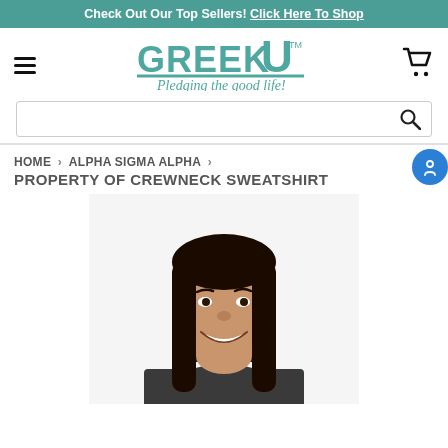Check Out Our Top Sellers! Click Here To Shop
[Figure (logo): Greek U logo with teal block letters and tagline 'Pledging the good life!']
HOME > ALPHA SIGMA ALPHA > PROPERTY OF CREWNECK SWEATSHIRT
PROPERTY OF CREWNECK SWEATSHIRT
[Figure (photo): Young woman with long dark hair wearing a dark crewneck sweatshirt, smiling, from the shoulders up]